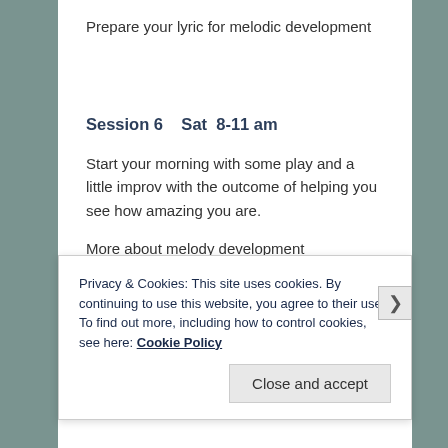Prepare your lyric for melodic development
Session 6    Sat  8-11 am
Start your morning with some play and a little improv with the outcome of helping you see how amazing you are.
More about melody development
Privacy & Cookies: This site uses cookies. By continuing to use this website, you agree to their use.
To find out more, including how to control cookies, see here: Cookie Policy
Close and accept